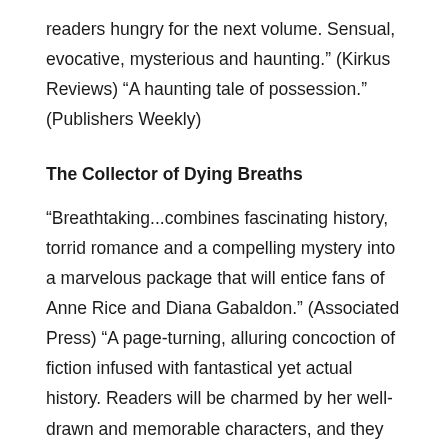readers hungry for the next volume. Sensual, evocative, mysterious and haunting." (Kirkus Reviews) "A haunting tale of possession." (Publishers Weekly)
The Collector of Dying Breaths
"Breathtaking...combines fascinating history, torrid romance and a compelling mystery into a marvelous package that will entice fans of Anne Rice and Diana Gabaldon." (Associated Press) "A page-turning, alluring concoction of fiction infused with fantastical yet actual history. Readers will be charmed by her well-drawn and memorable characters, and they will be mesmerized by her enchanting narrative, which takes them on a mystical and magical journey." (Library Journal (starred)) "A terrific piece of entertainment." (CT Post) "Wondrously original... elegantly written. Rose manages to utterly suspend our disbelief